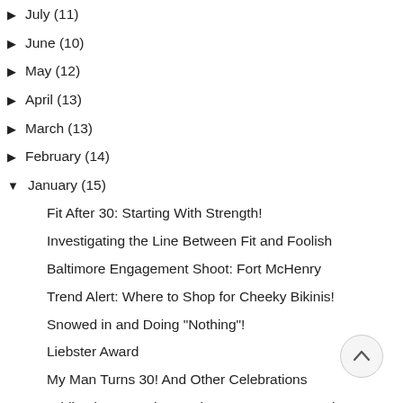▶ July (11)
▶ June (10)
▶ May (12)
▶ April (13)
▶ March (13)
▶ February (14)
▼ January (15)
Fit After 30: Starting With Strength!
Investigating the Line Between Fit and Foolish
Baltimore Engagement Shoot: Fort McHenry
Trend Alert: Where to Shop for Cheeky Bikinis!
Snowed in and Doing "Nothing"!
Liebster Award
My Man Turns 30! And Other Celebrations
Adding in Strength to Make 30 Your BEST Body!
Rookie Rules for Blogging
Never Too Old for a Birthday Party
Thirty is the New Twenty in 2014!